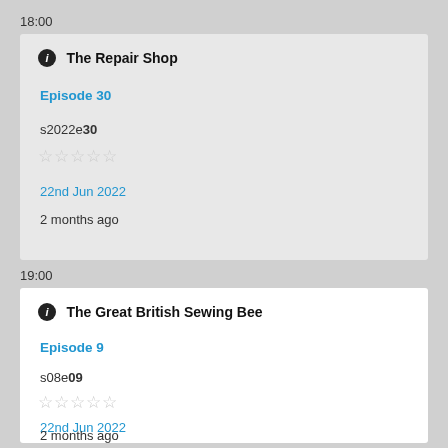18:00
The Repair Shop
Episode 30
s2022e30
☆☆☆☆☆
22nd Jun 2022
2 months ago
19:00
The Great British Sewing Bee
Episode 9
s08e09
☆☆☆☆☆
22nd Jun 2022
2 months ago